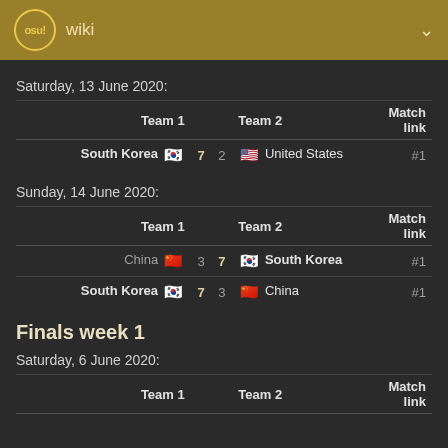osu! wiki
Saturday, 13 June 2020:
| Team 1 |  |  | Team 2 | Match link |
| --- | --- | --- | --- | --- |
| South Korea 🇰🇷 | 7 | 2 | 🇺🇸 United States | #1 |
Sunday, 14 June 2020:
| Team 1 |  |  | Team 2 | Match link |
| --- | --- | --- | --- | --- |
| China 🇨🇳 | 3 | 7 | 🇰🇷 South Korea | #1 |
| South Korea 🇰🇷 | 7 | 3 | 🇨🇳 China | #1 |
Finals week 1
Saturday, 6 June 2020:
| Team 1 |  |  | Team 2 | Match link |
| --- | --- | --- | --- | --- |